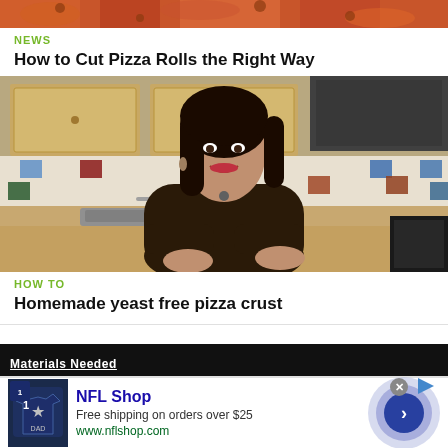[Figure (photo): Close-up of pizza rolls/pizza toppings — cropped top of image]
NEWS
How to Cut Pizza Rolls the Right Way
[Figure (photo): Woman in dark top standing in kitchen with colorful tile backsplash, sink visible behind her]
HOW TO
Homemade yeast free pizza crust
[Figure (screenshot): Partial video thumbnail with white text on dark background — partially visible]
[Figure (photo): NFL Shop advertisement with jersey image and circular arrow button]
NFL Shop
Free shipping on orders over $25
www.nflshop.com